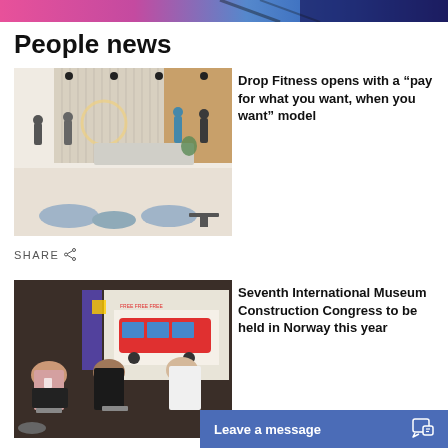[Figure (photo): Partial top banner image, colorful abstract design with pink, blue and black colors]
People news
[Figure (photo): Interior of a modern fitness studio reception area with light-colored furniture, pendant lights, and people standing around]
Drop Fitness opens with a “pay for what you want, when you want” model
SHARE
[Figure (photo): Panel discussion with three people seated at a conference event, with a presentation screen showing a colorful bus graphic in the background]
Seventh International Museum Construction Congress to be held in Norway this year
Leave a message